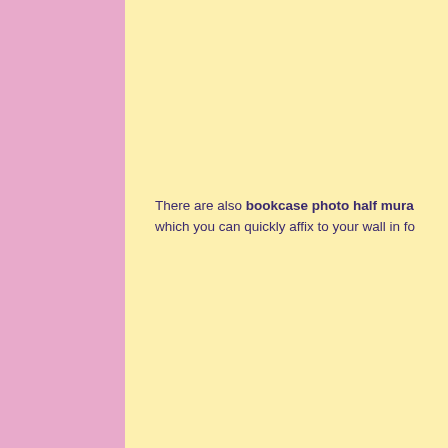There are also bookcase photo half mura which you can quickly affix to your wall in fo